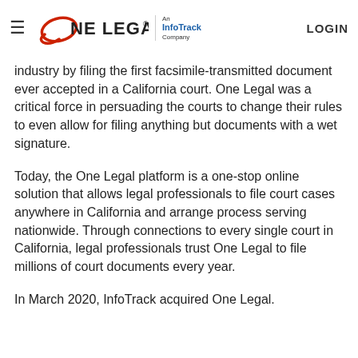One Legal – An InfoTrack Company | LOGIN
industry by filing the first facsimile-transmitted document ever accepted in a California court. One Legal was a critical force in persuading the courts to change their rules to even allow for filing anything but documents with a wet signature.
Today, the One Legal platform is a one-stop online solution that allows legal professionals to file court cases anywhere in California and arrange process serving nationwide. Through connections to every single court in California, legal professionals trust One Legal to file millions of court documents every year.
In March 2020, InfoTrack acquired One Legal.